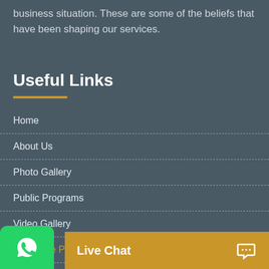business situation. These are some of the beliefs that have been shaping our services.
Useful Links
Home
About Us
Photo Gallery
Public Programs
Video Gallery
Corporate Programs
Calendar
ns and Conditions
acy Policy
Live Chat